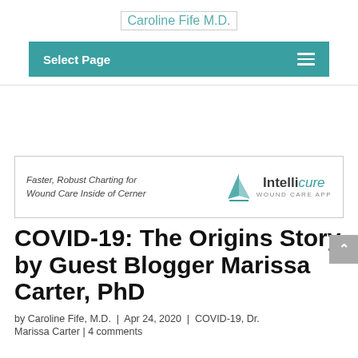Caroline Fife M.D.
Select Page
[Figure (logo): Intellicure Wound Care App advertisement banner. Text reads: Faster, Robust Charting for Wound Care Inside of Cerner. Logo shows a sailboat next to the word Intellicure with WOUND CARE APP beneath.]
COVID-19: The Origins Story by Guest Blogger Marissa Carter, PhD
by Caroline Fife, M.D. | Apr 24, 2020 | COVID-19, Dr.
Marissa Carter | 4 comments